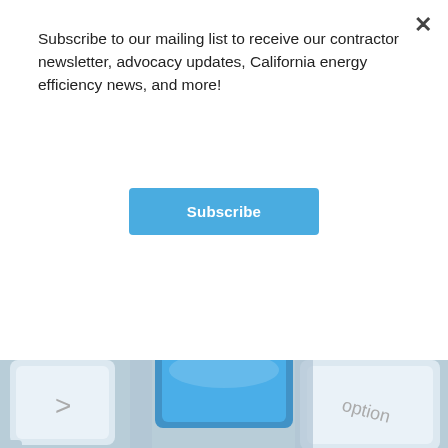Subscribe to our mailing list to receive our contractor newsletter, advocacy updates, California energy efficiency news, and more!
[Figure (other): Subscribe button — blue rounded rectangle with white bold text 'Subscribe']
[Figure (photo): Close-up photograph of a keyboard with white keys and blue accents; visible keys include >, option, and others.]
If you are a contractor in California, you have likely heard about the new Technology and Equipment for Clean Heating (TECH) incentive program. Funded by proceeds from gas corporations' greenhouse gas allowances (cap and trade revenues), TECH aims to promote the adoption of near-zero-emissions space and water heating (heat pumps) in existing single and